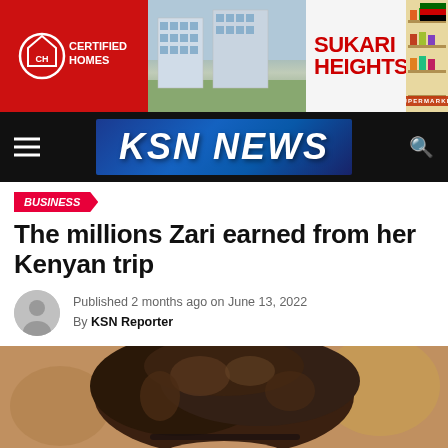[Figure (photo): KSN News website screenshot showing advertisement banner for Certified Homes / Sukari Heights, KSN News navigation bar, business article about Zari, and hero photo of a woman's hair.]
KSN NEWS
BUSINESS
The millions Zari earned from her Kenyan trip
Published 2 months ago on June 13, 2022
By KSN Reporter